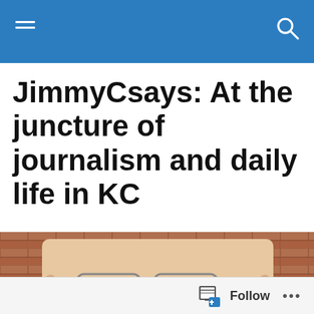JimmyCsays navigation header with menu and search icons
JimmyCsays: At the juncture of journalism and daily life in KC
[Figure (photo): Man holding up a copy of The New York Times newspaper so that only his eyes and glasses are visible above the masthead. Brick wall background.]
MONTHLY ARCHIVES: SEPTEMBER 2020
Should Biden refuse to...
Follow